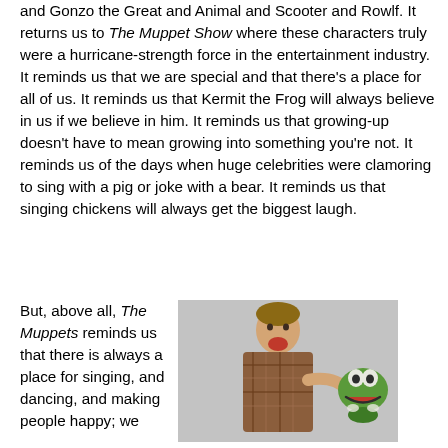and Gonzo the Great and Animal and Scooter and Rowlf. It returns us to The Muppet Show where these characters truly were a hurricane-strength force in the entertainment industry. It reminds us that we are special and that there's a place for all of us. It reminds us that Kermit the Frog will always believe in us if we believe in him. It reminds us that growing-up doesn't have to mean growing into something you're not. It reminds us of the days when huge celebrities were clamoring to sing with a pig or joke with a bear. It reminds us that singing chickens will always get the biggest laugh.
But, above all, The Muppets reminds us that there is always a place for singing, and dancing, and making people happy; we
[Figure (photo): A man with an excited open-mouthed smile pointing to his side, next to Kermit the Frog puppet, on a light grey background]